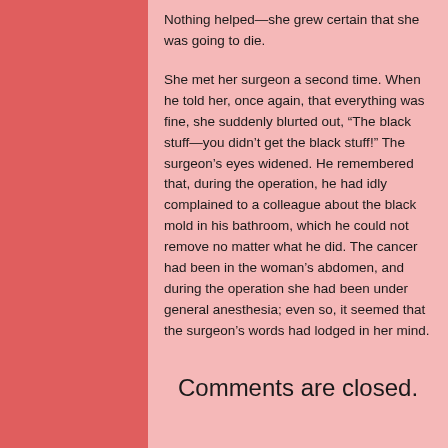Nothing helped—she grew certain that she was going to die.
She met her surgeon a second time. When he told her, once again, that everything was fine, she suddenly blurted out, “The black stuff—you didn’t get the black stuff!” The surgeon’s eyes widened. He remembered that, during the operation, he had idly complained to a colleague about the black mold in his bathroom, which he could not remove no matter what he did. The cancer had been in the woman’s abdomen, and during the operation she had been under general anesthesia; even so, it seemed that the surgeon’s words had lodged in her mind.
Comments are closed.